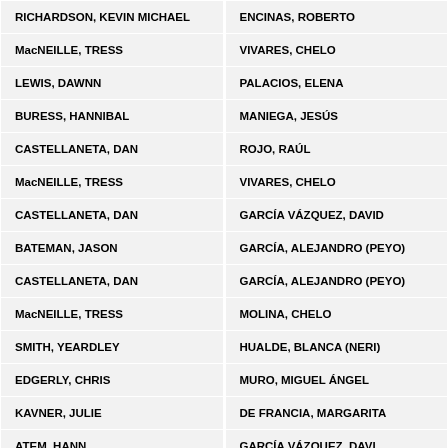| Original | Dubbed |
| --- | --- |
| RICHARDSON, KEVIN MICHAEL | ENCINAS, ROBERTO |
| MacNEILLE, TRESS | VIVARES, CHELO |
| LEWIS, DAWNN | PALACIOS, ELENA |
| BURESS, HANNIBAL | MANIEGA, JESÚS |
| CASTELLANETA, DAN | ROJO, RAÚL |
| MacNEILLE, TRESS | VIVARES, CHELO |
| CASTELLANETA, DAN | GARCÍA VÁZQUEZ, DAVID |
| BATEMAN, JASON | GARCÍA, ALEJANDRO (PEYO) |
| CASTELLANETA, DAN | GARCÍA, ALEJANDRO (PEYO) |
| MacNEILLE, TRESS | MOLINA, CHELO |
| SMITH, YEARDLEY | HUALDE, BLANCA (NERI) |
| EDGERLY, CHRIS | MURO, MIGUEL ÁNGEL |
| KAVNER, JULIE | DE FRANCIA, MARGARITA |
| ATEM, HANN | GARCÍA VÁZQUEZ, DAVID |